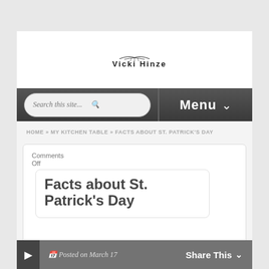[Figure (logo): Vicki Hinze website logo with bird/plane graphic above stylized text 'Vicki Hinze']
Search this site...  Menu
HOME » MY KITCHEN TABLE » FACTS ABOUT ST. PATRICK'S DAY
Comments
Off
Facts about St. Patrick's Day
Posted on March 17  Share This